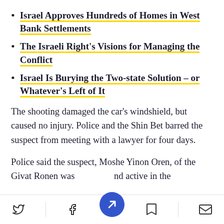Israel Approves Hundreds of Homes in West Bank Settlements
The Israeli Right's Visions for Managing the Conflict
Israel Is Burying the Two-state Solution – or Whatever's Left of It
The shooting damaged the car's windshield, but caused no injury. Police and the Shin Bet barred the suspect from meeting with a lawyer for four days.
Police said the suspect, Moshe Yinon Oren, of the Givat Ronen was...and active in the
Twitter | Facebook | Bookmark | Email